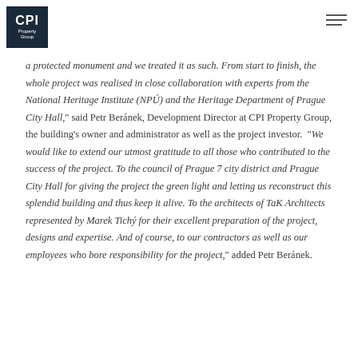CPI Property Group
a protected monument and we treated it as such. From start to finish, the whole project was realised in close collaboration with experts from the National Heritage Institute (NPÚ) and the Heritage Department of Prague City Hall," said Petr Beránek, Development Director at CPI Property Group, the building's owner and administrator as well as the project investor. "We would like to extend our utmost gratitude to all those who contributed to the success of the project. To the council of Prague 7 city district and Prague City Hall for giving the project the green light and letting us reconstruct this splendid building and thus keep it alive. To the architects of TaK Architects represented by Marek Tichý for their excellent preparation of the project, designs and expertise. And of course, to our contractors as well as our employees who bore responsibility for the project," added Petr Beránek.